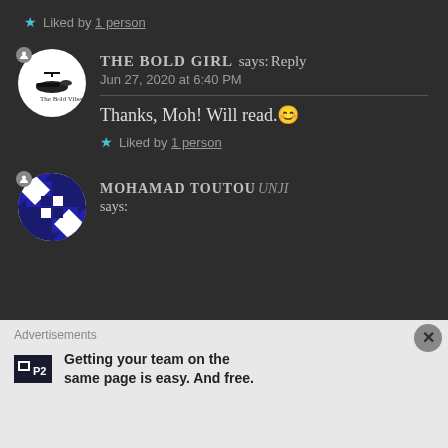★ Liked by 1 person
THE BOLD GIRL says: Reply
Jun 27, 2020 at 6:40 PM
Thanks, Moh! Will read.😊
★ Liked by 1 person
MOHAMAD TOUTOUNJI says:
Advertisements
Getting your team on the same page is easy. And free.